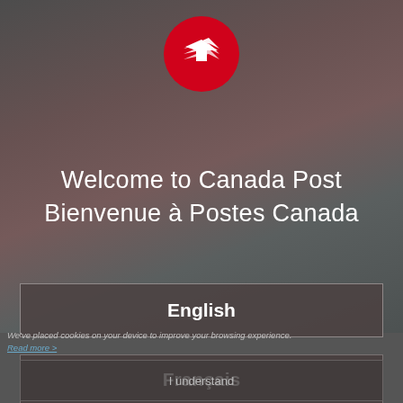[Figure (logo): Canada Post logo — red circle with white stylized arrow/chevron bird mark]
Welcome to Canada Post
Bienvenue à Postes Canada
We've placed cookies on your device to improve your browsing experience.
Read more >
English
Français
I understand